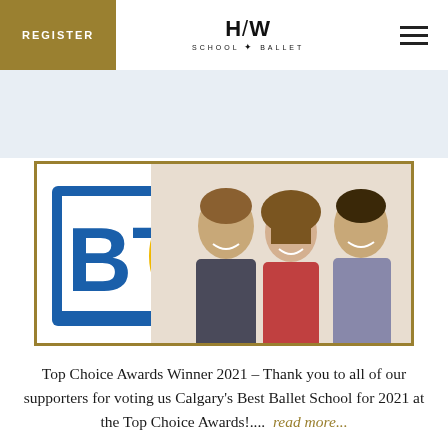REGISTER | H/W SCHOOL OF BALLET
[Figure (photo): BT (Breakfast Television) logo with blue square and gold circle, alongside three smiling TV hosts (two men and one woman) in professional attire]
Top Choice Awards Winner 2021 – Thank you to all of our supporters for voting us Calgary's Best Ballet School for 2021 at the Top Choice Awards!.... read more...